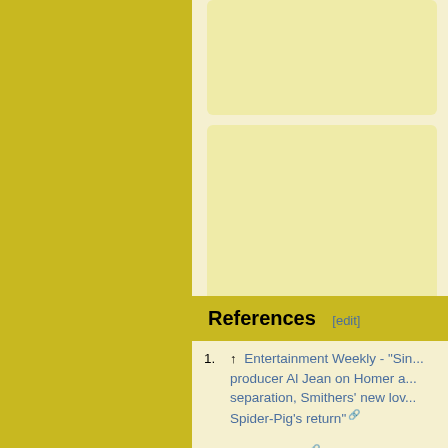[Figure (illustration): Yellow/gold colored left sidebar panel]
[Figure (photo): Screenshot from The Simpsons showing two characters (Mr. Burns and Smithers) dining at a restaurant table with wine glasses]
References [edit]
↑ Entertainment Weekly - "Sim... producer Al Jean on Homer an... separation, Smithers' new lov... Spider-Pig's return" [external link]
↑ Vsetv.com [external link]